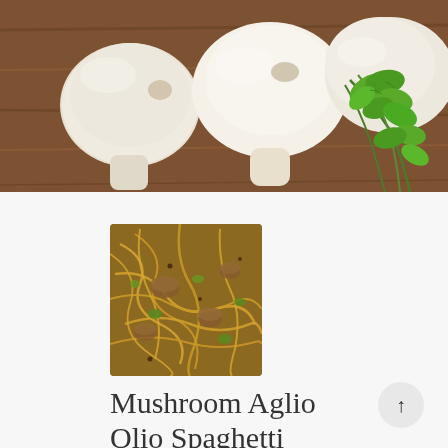[Figure (photo): Top banner photo showing white mushrooms and fresh cilantro on a wooden cutting board]
[Figure (photo): Thumbnail photo of mushroom aglio olio spaghetti dish — golden noodles with mushrooms and herbs]
Mushroom Aglio Olio Spaghetti
★ ★ ★ ★ ★ 5 from 1 reviews